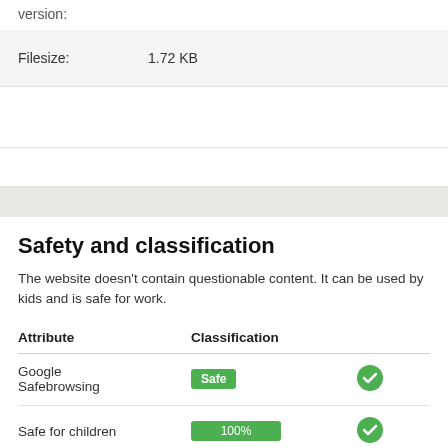version:
|  |  |
| --- | --- |
| Filesize: | 1.72 KB |
Safety and classification
The website doesn't contain questionable content. It can be used by kids and is safe for work.
| Attribute | Classification |  |
| --- | --- | --- |
| Google Safebrowsing | Safe | ✓ |
| Safe for children | 100% | ✓ |